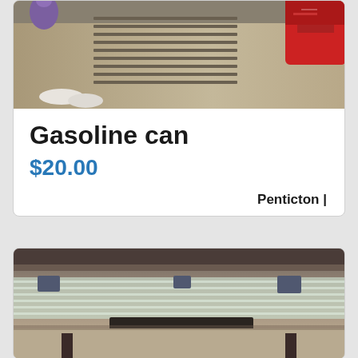[Figure (photo): Top portion of a marketplace listing photo showing a red gasoline can and other items near a vehicle or shelf]
Gasoline can
$20.00
Penticton |
[Figure (photo): Photo of a glass-top coffee table with dark metal legs, showing blinds reflected in the glass, carpet visible below]